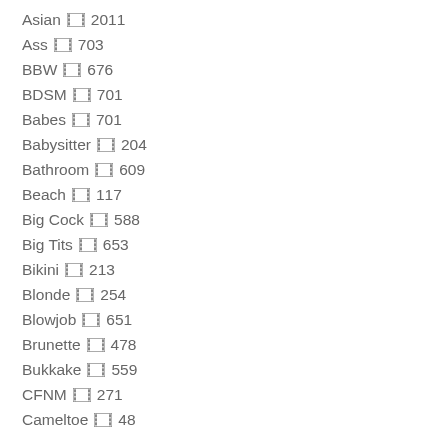Asian 🎞 2011
Ass 🎞 703
BBW 🎞 676
BDSM 🎞 701
Babes 🎞 701
Babysitter 🎞 204
Bathroom 🎞 609
Beach 🎞 117
Big Cock 🎞 588
Big Tits 🎞 653
Bikini 🎞 213
Blonde 🎞 254
Blowjob 🎞 651
Brunette 🎞 478
Bukkake 🎞 559
CFNM 🎞 271
Cameltoe 🎞 48